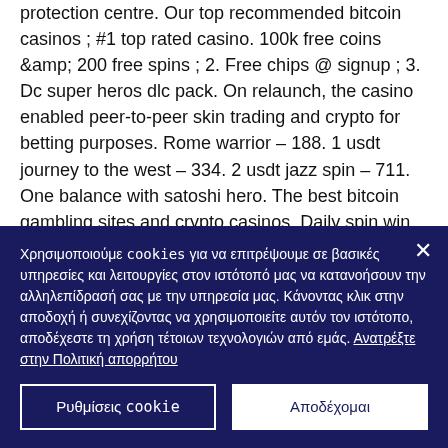protection centre. Our top recommended bitcoin casinos ; #1 top rated casino. 100k free coins &amp; 200 free spins ; 2. Free chips @ signup ; 3. Dc super heros dlc pack. On relaunch, the casino enabled peer-to-peer skin trading and crypto for betting purposes. Rome warrior – 188. 1 usdt journey to the west – 334. 2 usdt jazz spin – 711. One balance with satoshi hero. The best bitcoin gambling sites and crypto casinos. Daily spin win 0. Direct paying faucets, micro-wallet paying faucets, crypto
Χρησιμοποιούμε cookies για να επιτρέψουμε σε βασικές υπηρεσίες και λειτουργίες στον ιστότοπό μας να κατανοήσουν την αλληλεπίδρασή σας με την υπηρεσία μας. Κάνοντας κλικ στην αποδοχή ή συνεχίζοντας να χρησιμοποιείτε αυτόν τον ιστότοπο, αποδέχεστε τη χρήση τέτοιων τεχνολογιών από εμάς. Ανατρέξτε στην Πολιτική απορρήτου
Ρυθμίσεις cookie
Αποδέχομαι